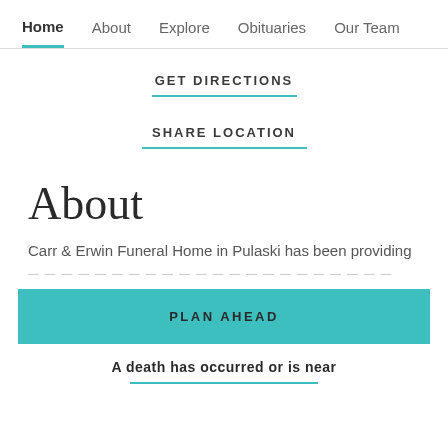Home  About  Explore  Obituaries  Our Team
GET DIRECTIONS
SHARE LOCATION
About
Carr & Erwin Funeral Home in Pulaski has been providing
PLAN AHEAD
A death has occurred or is near